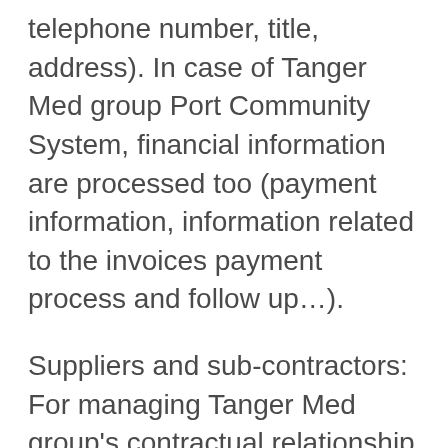telephone number, title, address). In case of Tanger Med group Port Community System, financial information are processed too (payment information, information related to the invoices payment process and follow up…).
Suppliers and sub-contractors: For managing Tanger Med group's contractual relationship with its Suppliers and sub-contractors, Tanger Med group processes their personal contact information provided by the procurement platform or in the suppliers' window in general (such as name, email address,